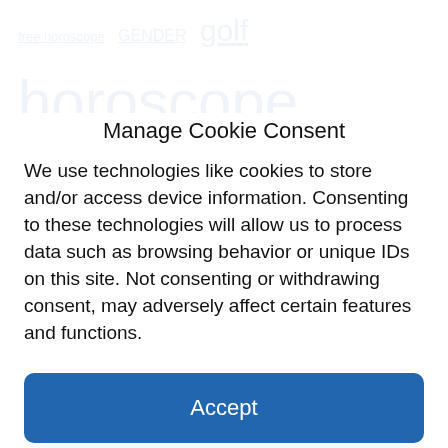[Figure (other): Tag cloud showing various topic links in different font sizes, partially visible behind modal overlay. Tags include: free horoscope, GENDER, golf, horoscope, horoscopes, industrial news, inflation, investing, Investment strategy, Kotaku, markets, Nameri, news, NEWS1, normal_article, Opinion, Politics, sports, story, Technology, reviews, tycshowhiz]
Manage Cookie Consent
We use technologies like cookies to store and/or access device information. Consenting to these technologies will allow us to process data such as browsing behavior or unique IDs on this site. Not consenting or withdrawing consent, may adversely affect certain features and functions.
Accept
Cookie Policy